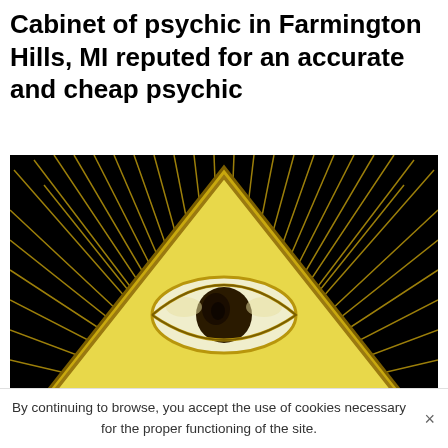Cabinet of psychic in Farmington Hills, MI reputed for an accurate and cheap psychic
[Figure (illustration): Gold illuminati all-seeing eye pyramid symbol with radiating rays on a black background. The pyramid is golden/yellow with an eye in its center, surrounded by many golden rays extending outward.]
By continuing to browse, you accept the use of cookies necessary for the proper functioning of the site.